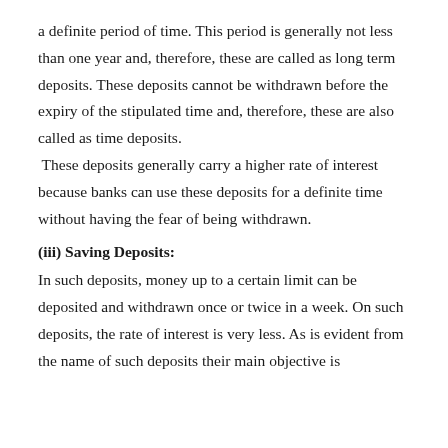a definite period of time. This period is generally not less than one year and, therefore, these are called as long term deposits. These deposits cannot be withdrawn before the expiry of the stipulated time and, therefore, these are also called as time deposits. These deposits generally carry a higher rate of interest because banks can use these deposits for a definite time without having the fear of being withdrawn.
(iii) Saving Deposits:
In such deposits, money up to a certain limit can be deposited and withdrawn once or twice in a week. On such deposits, the rate of interest is very less. As is evident from the name of such deposits their main objective is